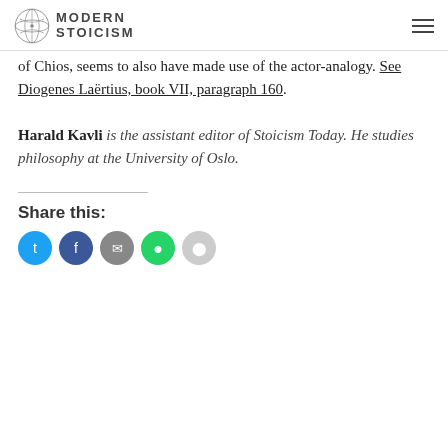MODERN STOICISM
of Chios, seems to also have made use of the actor-analogy. See Diogenes Laërtius, book VII, paragraph 160.
Harald Kavli is the assistant editor of Stoicism Today. He studies philosophy at the University of Oslo.
Share this: